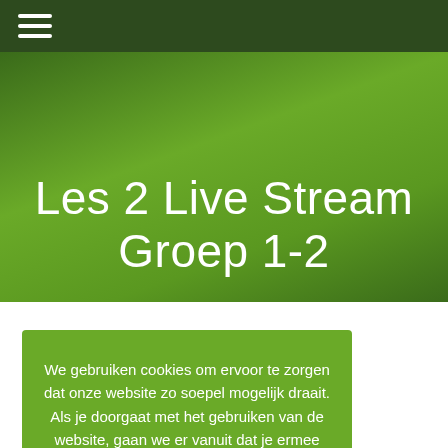☰
Les 2 Live Stream Groep 1-2
We gebruiken cookies om ervoor te zorgen dat onze website zo soepel mogelijk draait. Als je doorgaat met het gebruiken van de website, gaan we er vanuit dat je ermee instemt.